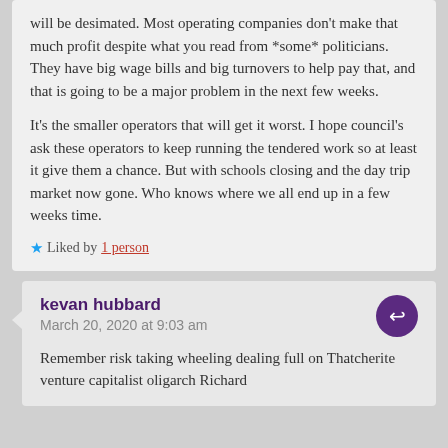will be desimated. Most operating companies don't make that much profit despite what you read from *some* politicians. They have big wage bills and big turnovers to help pay that, and that is going to be a major problem in the next few weeks.

It's the smaller operators that will get it worst. I hope council's ask these operators to keep running the tendered work so at least it give them a chance. But with schools closing and the day trip market now gone. Who knows where we all end up in a few weeks time.
Liked by 1 person
kevan hubbard
March 20, 2020 at 9:03 am
Remember risk taking wheeling dealing full on Thatcherite venture capitalist oligarch Richard